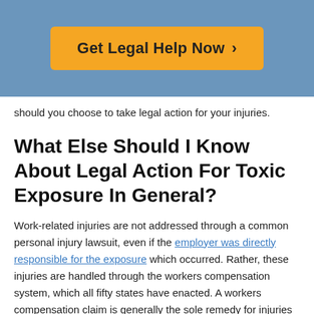[Figure (other): Orange button with text 'Get Legal Help Now >' on a blue background header]
should you choose to take legal action for your injuries.
What Else Should I Know About Legal Action For Toxic Exposure In General?
Work-related injuries are not addressed through a common personal injury lawsuit, even if the employer was directly responsible for the exposure which occurred. Rather, these injuries are handled through the workers compensation system, which all fifty states have enacted. A workers compensation claim is generally the sole remedy for injuries which happened while on the job.
However, if the employee was injured by a substance